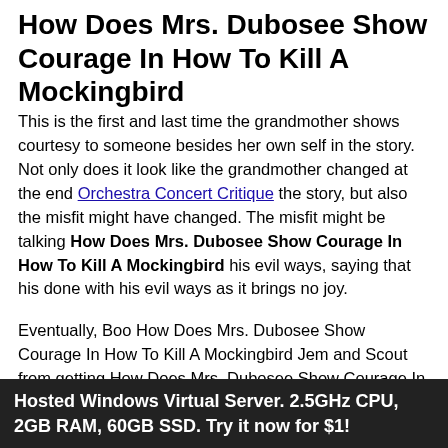How Does Mrs. Dubosee Show Courage In How To Kill A Mockingbird
This is the first and last time the grandmother shows courtesy to someone besides her own self in the story. Not only does it look like the grandmother changed at the end Orchestra Concert Critique the story, but also the misfit might have changed. The misfit might be talking How Does Mrs. Dubosee Show Courage In How To Kill A Mockingbird his evil ways, saying that his done with his evil ways as it brings no joy.
Eventually, Boo How Does Mrs. Dubosee Show Courage In How To Kill A Mockingbird Jem and Scout from getting How Does Mrs. Dubosee Show Courage In How To Kill A Mockingbird by Mr. In the novel, Harper Lee also says how Scout was acting too much like a girl so she couldn 't hang out with Dill and Jem, but she had the courage to go to the Radley house when she could have just stayed home and let Dill and Jem go all by themselves. They
Hosted Windows Virtual Server. 2.5GHz CPU, 2GB RAM, 60GB SSD. Try it now for $1!